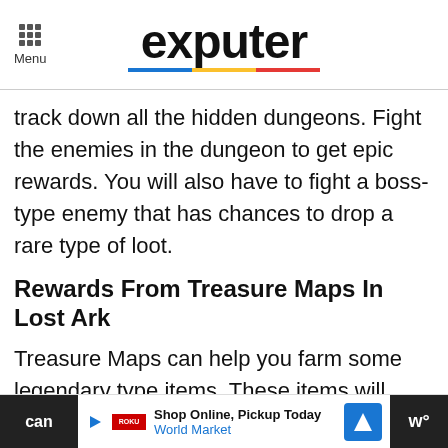Menu | exputer
track down all the hidden dungeons. Fight the enemies in the dungeon to get epic rewards. You will also have to fight a boss-type enemy that has chances to drop a rare type of loot.
Rewards From Treasure Maps In Lost Ark
Treasure Maps can help you farm some legendary type items. These items will drop from defeated enemies. They will also help you gain a lot of XP points which is a crucial part of the main
Shop Online, Pickup Today — World Market (advertisement)